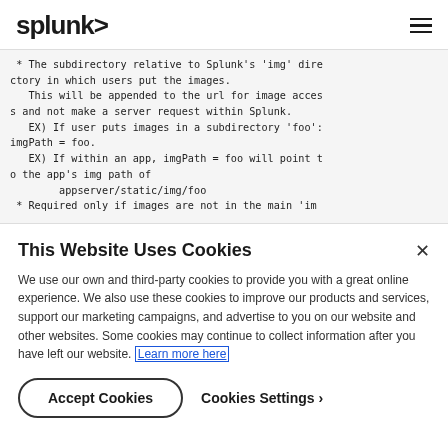splunk> [hamburger menu]
* The subdirectory relative to Splunk's 'img' directory in which users put the images.
   This will be appended to the url for image access and not make a server request within Splunk.
   EX) If user puts images in a subdirectory 'foo':
imgPath = foo.
   EX) If within an app, imgPath = foo will point to the app's img path of
        appserver/static/img/foo
 * Required only if images are not in the main 'im
This Website Uses Cookies
We use our own and third-party cookies to provide you with a great online experience. We also use these cookies to improve our products and services, support our marketing campaigns, and advertise to you on our website and other websites. Some cookies may continue to collect information after you have left our website. Learn more here
Accept Cookies
Cookies Settings ›